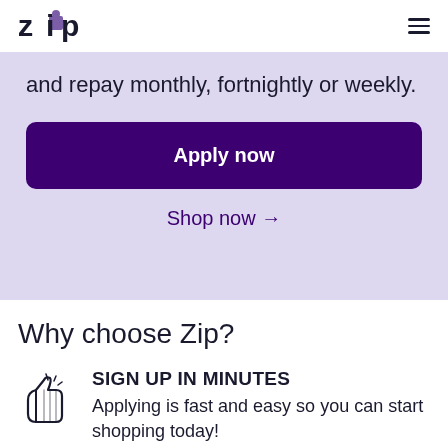Zip
and repay monthly, fortnightly or weekly.
Apply now
Shop now →
Why choose Zip?
[Figure (illustration): Thumbs up icon with sparkle lines]
SIGN UP IN MINUTES
Applying is fast and easy so you can start shopping today!